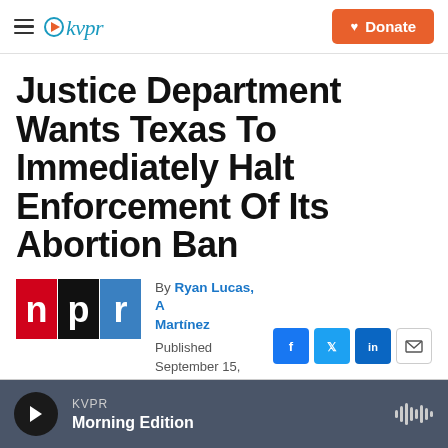KVPR | Donate
Justice Department Wants Texas To Immediately Halt Enforcement Of Its Abortion Ban
By Ryan Lucas, A Martínez
Published September 15, 2021 at 6:48 AM PDT
KVPR Morning Edition